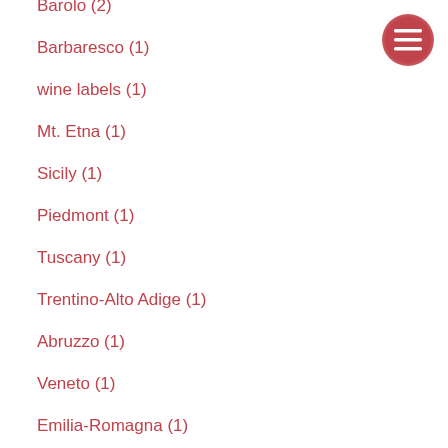Barolo (2)
Barbaresco (1)
wine labels (1)
Mt. Etna (1)
Sicily (1)
Piedmont (1)
Tuscany (1)
Trentino-Alto Adige (1)
Abruzzo (1)
Veneto (1)
Emilia-Romagna (1)